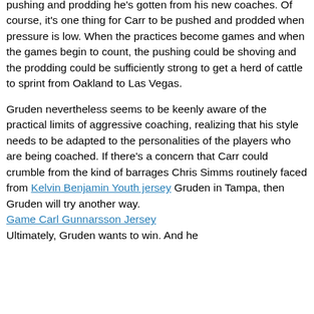pushing and prodding he's gotten from his new coaches. Of course, it's one thing for Carr to be pushed and prodded when pressure is low. When the practices become games and when the games begin to count, the pushing could be shoving and the prodding could be sufficiently strong to get a herd of cattle to sprint from Oakland to Las Vegas.
Gruden nevertheless seems to be keenly aware of the practical limits of aggressive coaching, realizing that his style needs to be adapted to the personalities of the players who are being coached. If there's a concern that Carr could crumble from the kind of barrages Chris Simms routinely faced from Kelvin Benjamin Youth jersey Gruden in Tampa, then Gruden will try another way. Game Carl Gunnarsson Jersey Ultimately, Gruden wants to win. And he